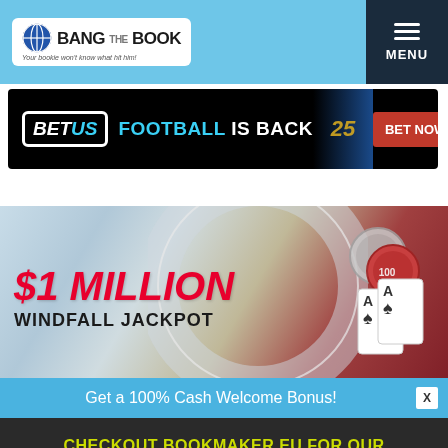Bang The Book — Your bookie won't know what hit him!
[Figure (screenshot): BetUS Football Is Back advertisement banner with BET NOW button]
[Figure (photo): $1 Million Windfall Jackpot casino promotional image with poker chips and playing cards]
Get a 100% Cash Welcome Bonus!
CHECKOUT BOOKMAKER.EU FOR OUR EXCLUSIVE BTB BONUS